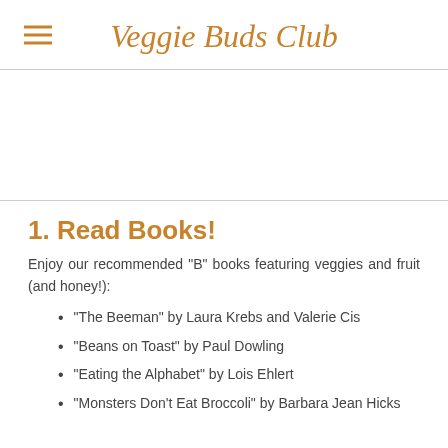Veggie Buds Club
1. Read Books!
Enjoy our recommended "B" books featuring veggies and fruit (and honey!):
"The Beeman" by Laura Krebs and Valerie Cis
"Beans on Toast" by Paul Dowling
"Eating the Alphabet" by Lois Ehlert
"Monsters Don't Eat Broccoli" by Barbara Jean Hicks